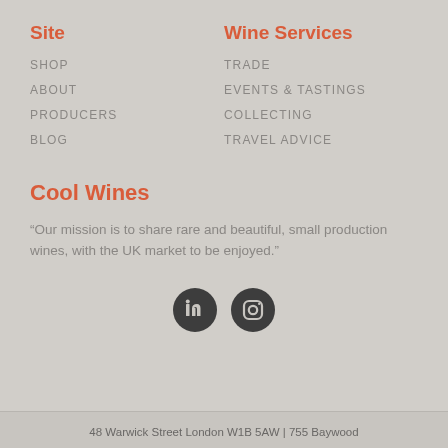Site
SHOP
ABOUT
PRODUCERS
BLOG
Wine Services
TRADE
EVENTS & TASTINGS
COLLECTING
TRAVEL ADVICE
Cool Wines
“Our mission is to share rare and beautiful, small production wines, with the UK market to be enjoyed.”
[Figure (illustration): Two circular social media icons: LinkedIn and Instagram, dark grey background]
48 Warwick Street London W1B 5AW | 755 Baywood